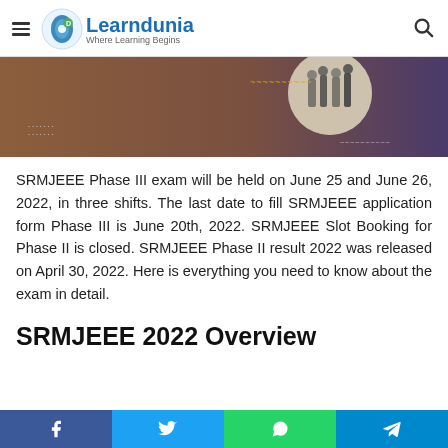Learndunia — Where Learning Begins
[Figure (illustration): Decorative banner image with brown/purple gradient background, circular photo of people standing, and decorative dot/wave patterns]
SRMJEEE Phase III exam will be held on June 25 and June 26, 2022, in three shifts. The last date to fill SRMJEEE application form Phase III is June 20th, 2022. SRMJEEE Slot Booking for Phase II is closed. SRMJEEE Phase II result 2022 was released on April 30, 2022. Here is everything you need to know about the exam in detail.
SRMJEEE 2022 Overview
Facebook | Twitter | WhatsApp | Telegram